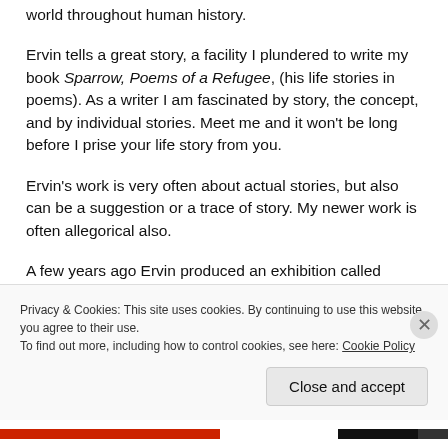world throughout human history.
Ervin tells a great story, a facility I plundered to write my book Sparrow, Poems of a Refugee, (his life stories in poems). As a writer I am fascinated by story, the concept, and by individual stories. Meet me and it won't be long before I prise your life story from you.
Ervin's work is very often about actual stories, but also can be a suggestion or a trace of story. My newer work is often allegorical also.
A few years ago Ervin produced an exhibition called Unfinished Allegories, photographs that suggest stories, but
Privacy & Cookies: This site uses cookies. By continuing to use this website, you agree to their use.
To find out more, including how to control cookies, see here: Cookie Policy
Close and accept